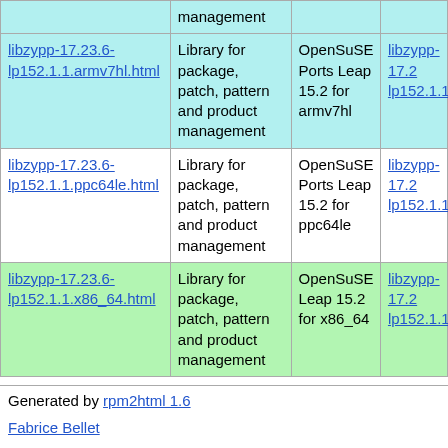| management |  |  |
| libzypp-17.23.6-lp152.1.1.armv7hl.html | Library for package, patch, pattern and product management | OpenSuSE Ports Leap 15.2 for armv7hl | libzypp-17...
lp152.1.1.ar |
| libzypp-17.23.6-lp152.1.1.ppc64le.html | Library for package, patch, pattern and product management | OpenSuSE Ports Leap 15.2 for ppc64le | libzypp-17.
lp152.1.1.pp |
| libzypp-17.23.6-lp152.1.1.x86_64.html | Library for package, patch, pattern and product management | OpenSuSE Leap 15.2 for x86_64 | libzypp-17.
lp152.1.1.x8 |
Generated by rpm2html 1.6
Fabrice Bellet